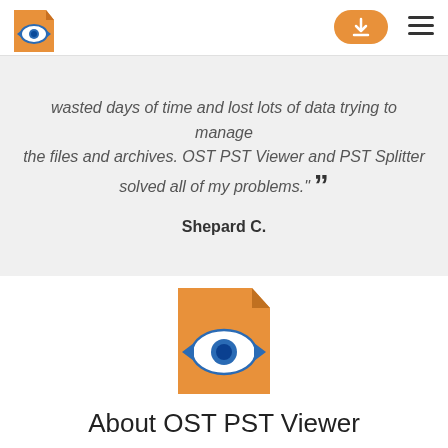[Figure (logo): OST PST Viewer logo in header: orange folded page with blue eye and arrows]
[Figure (other): Orange rounded download button with white download arrow icon]
[Figure (other): Hamburger menu icon (three horizontal lines)]
wasted days of time and lost lots of data trying to manage the files and archives. OST PST Viewer and PST Splitter solved all of my problems."
Shepard C.
[Figure (logo): Large OST PST Viewer logo centered: orange folded page with blue eye and blue arrows pointing left and right]
About OST PST Viewer